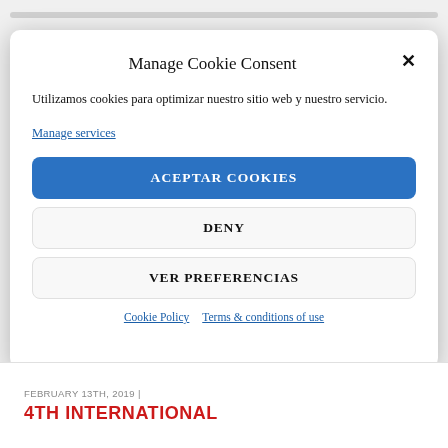Manage Cookie Consent
Utilizamos cookies para optimizar nuestro sitio web y nuestro servicio.
Manage services
ACEPTAR COOKIES
DENY
VER PREFERENCIAS
Cookie Policy   Terms & conditions of use
FEBRUARY 13TH, 2019 |
4TH INTERNATIONAL